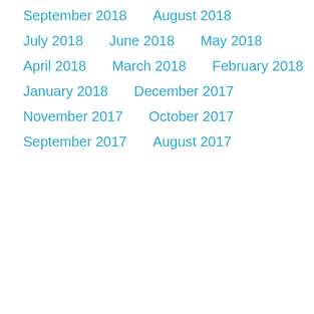September 2018
August 2018
July 2018
June 2018
May 2018
April 2018
March 2018
February 2018
January 2018
December 2017
November 2017
October 2017
September 2017
August 2017